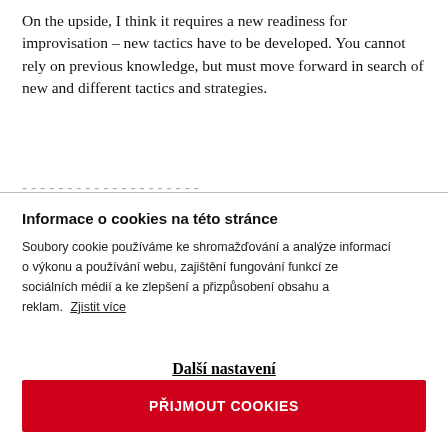On the upside, I think it requires a new readiness for improvisation – new tactics have to be developed. You cannot rely on previous knowledge, but must move forward in search of new and different tactics and strategies.
Informace o cookies na této stránce
Soubory cookie používáme ke shromažďování a analýze informací o výkonu a používání webu, zajištění fungování funkcí ze sociálních médií a ke zlepšení a přizpůsobení obsahu a reklam. Zjistit více
Další nastavení
PŘIJMOUT COOKIES